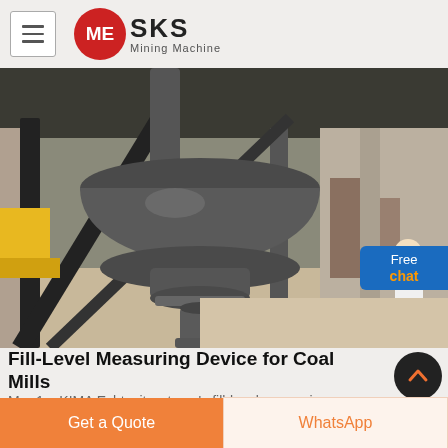[Figure (logo): SKS Mining Machine logo — red circular emblem with stylized M/E letters, bold SKS text, and 'Mining Machine' subtitle]
[Figure (photo): Close-up industrial photo of a fill-level measuring device mounted on a coal mill — large black cast-iron rotating classifier/separator component with flanged base, viewed from below, inside a factory/industrial setting with metal framework visible]
Fill-Level Measuring Device for Coal Mills
Mar 1, . KIMA Echtzeitsysteme's fill-level measuring